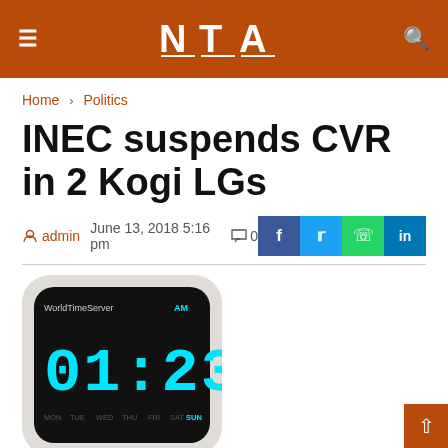NTA — navigation header with hamburger menu, NTA logo, and search icon
Home › Politics
INEC suspends CVR in 2 Kogi LGs
admin   June 13, 2018 5:16 pm   0
[Figure (photo): World Time Server digital clock display showing 01:23 in teal LED digits on a black background, with days of the week at the bottom (SUN highlighted), and 'WorldTimeServer' branding at top. Caption: Abuja]
Abuja